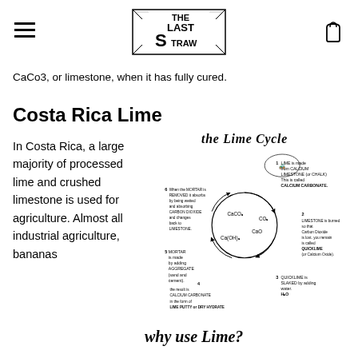The Last Straw (logo)
CaCo3, or limestone, when it has fully cured.
Costa Rica Lime
In Costa Rica, a large majority of processed lime and crushed limestone is used for agriculture. Almost all industrial agriculture, bananas
[Figure (illustration): The Lime Cycle diagram showing a circular process: 1. Lime is made from Calcium Limestone (or Chalk) this is called Calcium Carbonate (CaCO3). 2. Limestone is burned so that Carbon Dioxide is lost, you remain is called Quicklime (or Calcium Oxide). 3. Quicklime is slaked by adding water (H2O). 4. The result is Calcium Carbonate in the form of Lime Putty or Dry Hydrate. 5. Mortar is made by adding aggregate (sand and cement). 6. When the mortar is removed it absorbs Carbon Dioxide and changes back to Limestone. Center shows CaCO3, CO2, CaO, Ca(OH)2 labels. Title reads 'the Lime Cycle'. Bottom section reads 'why use Lime?']